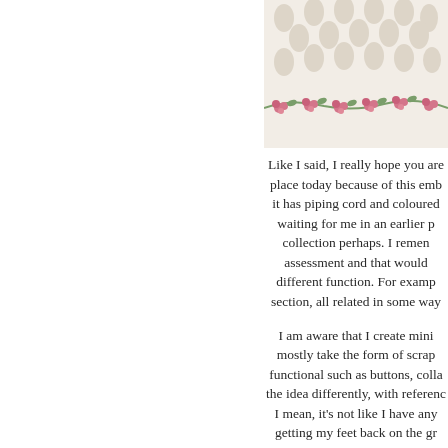[Figure (photo): Close-up photo of white eyelet lace fabric with pink and green embroidered floral trim along the bottom edge]
Like I said, I really hope you are place today because of this emb it has piping cord and coloured waiting for me in an earlier p collection perhaps. I remen assessment and that would different function. For examp section, all related in some way
I am aware that I create mini mostly take the form of scrap functional such as buttons, colla the idea differently, with referenc I mean, it's not like I have any getting my feet back on the gr things to do and perhaps should